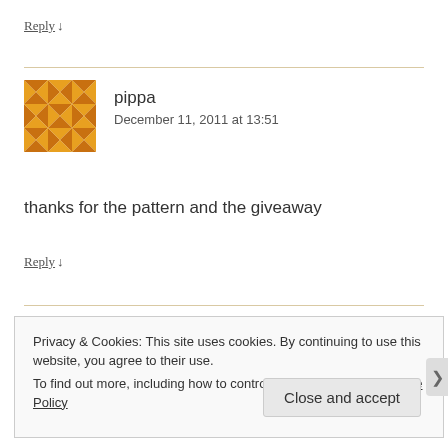Reply ↓
pippa
December 11, 2011 at 13:51
thanks for the pattern and the giveaway
Reply ↓
Privacy & Cookies: This site uses cookies. By continuing to use this website, you agree to their use.
To find out more, including how to control cookies, see here: Cookie Policy
Close and accept